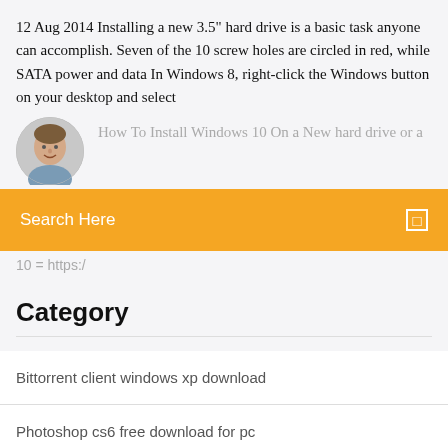12 Aug 2014 Installing a new 3.5" hard drive is a basic task anyone can accomplish. Seven of the 10 screw holes are circled in red, while SATA power and data In Windows 8, right-click the Windows button on your desktop and select
[Figure (photo): Circular avatar photo of a man]
How To Install Windows 10 On a New hard drive or a
Search Here
10 = https:/
Category
Bittorrent client windows xp download
Photoshop cs6 free download for pc